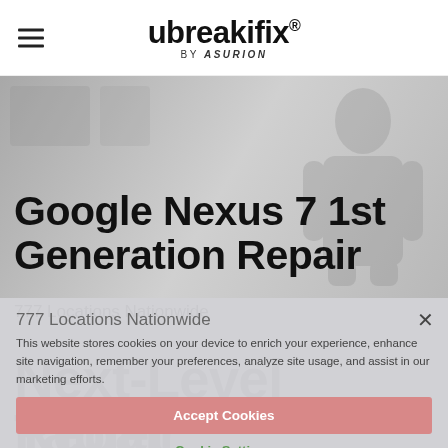ubreakifix. BY asurion
[Figure (screenshot): Website screenshot showing ubreakifix by Asurion page for Google Nexus 7 1st Generation Repair with a hero image of a technician, a cookie consent overlay, and partial view of 'Next-Level Tablet Repair' section]
Google Nexus 7 1st Generation Repair
777 Locations Nationwide
This website stores cookies on your device to enrich your experience, enhance site navigation, remember your preferences, analyze site usage, and assist in our marketing efforts.
Accept Cookies
Cookie Settings
Next-Level Tablet Repair